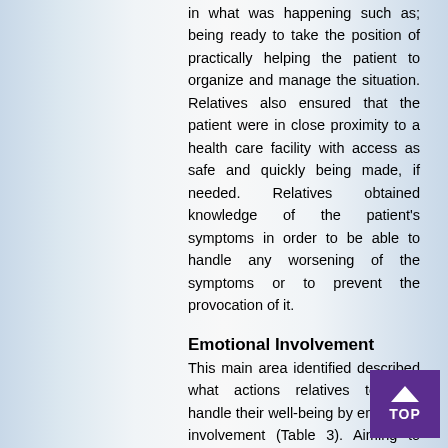in what was happening such as; being ready to take the position of practically helping the patient to organize and manage the situation. Relatives also ensured that the patient were in close proximity to a health care facility with access as safe and quickly being made, if needed. Relatives obtained knowledge of the patient's symptoms in order to be able to handle any worsening of the symptoms or to prevent the provocation of it.
Emotional Involvement
This main area identified described what actions relatives took to handle their well-being by emotional involvement (Table 3). Aiming to promote and achieve their individual well-being, relatives responded to the situation by adjusting their own feelings and treating the patient's mood. In order to have control over the situation, and the desire to deliver caring behaviour, relatives had to firstly deal with the situation and then...